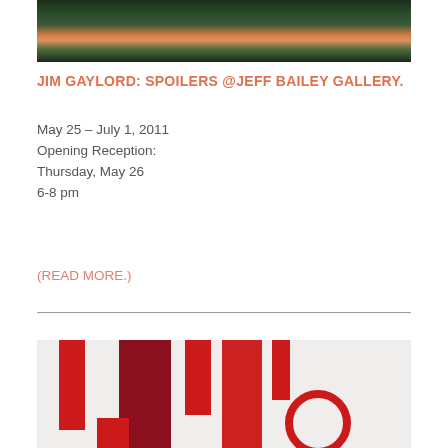[Figure (photo): Top portion of an artwork photograph showing colorful figures against dark green foliage background]
JIM GAYLORD: SPOILERS @JEFF BAILEY GALLERY.
May 25 – July 1, 2011
Opening Reception:
Thursday, May 26
6-8 pm
(READ MORE.)
[Figure (photo): Bottom portion of an artwork photograph showing red rectangular shapes and a partial red circle on a light/cream background]